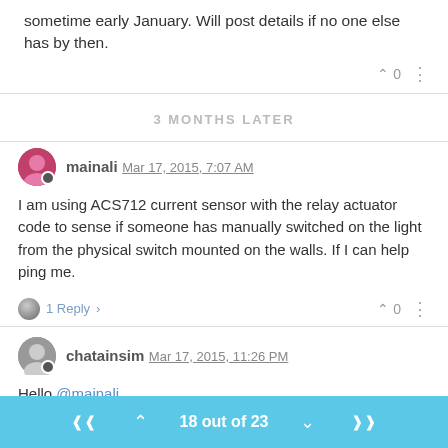sometime early January. Will post details if no one else has by then.
3 MONTHS LATER
mainali Mar 17, 2015, 7:07 AM
I am using ACS712 current sensor with the relay actuator code to sense if someone has manually switched on the light from the physical switch mounted on the walls. If I can help ping me.
1 Reply
chatainsim Mar 17, 2015, 11:26 PM
Hello @mainali
Can you provide more details regarding the ACS712 current
18 out of 23